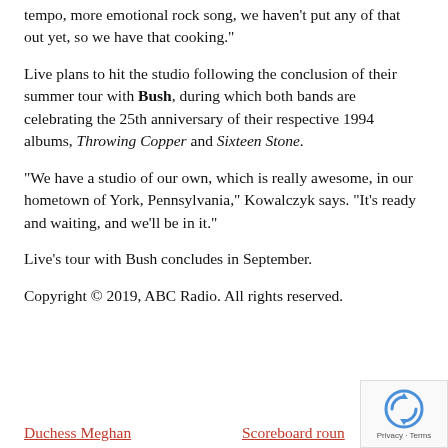tempo, more emotional rock song, we haven’t put any of that out yet, so we have that cooking.”
Live plans to hit the studio following the conclusion of their summer tour with Bush, during which both bands are celebrating the 25th anniversary of their respective 1994 albums, Throwing Copper and Sixteen Stone.
“We have a studio of our own, which is really awesome, in our hometown of York, Pennsylvania,” Kowalczyk says. “It’s ready and waiting, and we’ll be in it.”
Live’s tour with Bush concludes in September.
Copyright © 2019, ABC Radio. All rights reserved.
Duchess Meghan   Scoreboard roundup